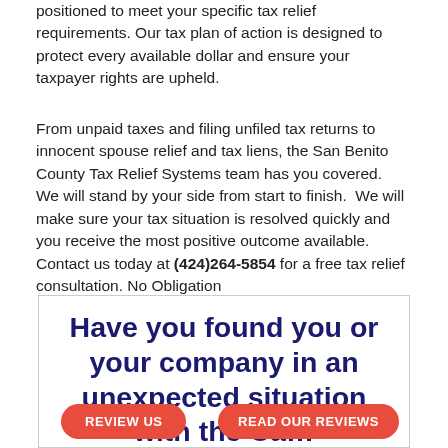positioned to meet your specific tax relief requirements. Our tax plan of action is designed to protect every available dollar and ensure your taxpayer rights are upheld.
From unpaid taxes and filing unfiled tax returns to innocent spouse relief and tax liens, the San Benito County Tax Relief Systems team has you covered.  We will stand by your side from start to finish.  We will make sure your tax situation is resolved quickly and you receive the most positive outcome available.  Contact us today at (424)264-5854 for a free tax relief consultation. No Obligation
Have you found you or your company in an unexpected situation with the California Board of Equalization